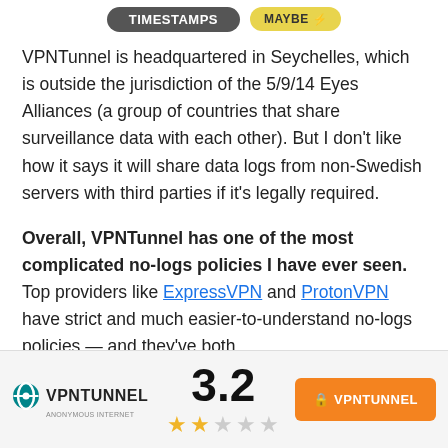[Figure (other): Two buttons: a dark grey pill-shaped button labeled TIMESTAMPS and a yellow pill-shaped button labeled MAYBE with a lightning bolt icon]
VPNTunnel is headquartered in Seychelles, which is outside the jurisdiction of the 5/9/14 Eyes Alliances (a group of countries that share surveillance data with each other). But I don't like how it says it will share data logs from non-Swedish servers with third parties if it's legally required.
Overall, VPNTunnel has one of the most complicated no-logs policies I have ever seen. Top providers like ExpressVPN and ProtonVPN have strict and much easier-to-understand no-logs policies — and they've both
[Figure (logo): VPNTunnel logo with teal circle icon, brand name VPNTUNNEL in bold caps, tagline ANONYMOUS INTERNET below]
3.2
[Figure (other): Star rating: 2 filled yellow stars and 3 empty grey stars]
🔒 VPNTUNNEL